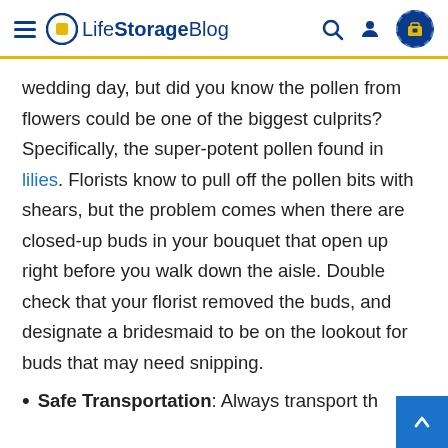Life Storage Blog
wedding day, but did you know the pollen from flowers could be one of the biggest culprits? Specifically, the super-potent pollen found in lilies. Florists know to pull off the pollen bits with shears, but the problem comes when there are closed-up buds in your bouquet that open up right before you walk down the aisle. Double check that your florist removed the buds, and designate a bridesmaid to be on the lookout for buds that may need snipping.
Safe Transportation: Always transport th